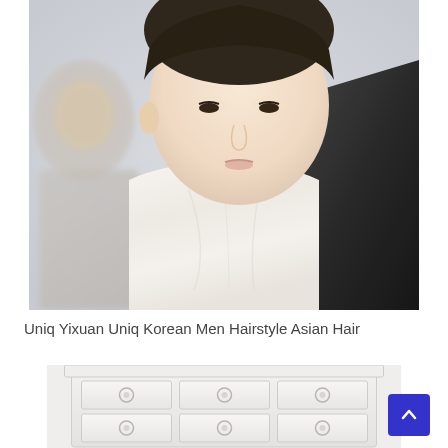[Figure (photo): Photo of a young Asian man with dark hair wearing a white t-shirt, looking downward. Other people visible in the blurred background. A person in a black jacket is partially visible on the right.]
Uniq Yixuan Uniq Korean Men Hairstyle Asian Hair
[Figure (photo): Partial photo of a white dresser/chest of drawers with circular knobs on the drawer fronts.]